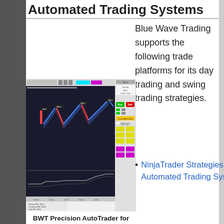Automated Trading Systems
Blue Wave Trading supports the following trade platforms for its day trading and swing trading strategies.
[Figure (screenshot): Screenshot of BWT Precision AutoTrader platform showing a trading chart with blue and red zigzag price movements, buy/sell signals, and a control panel on the right side with Buy/Sell buttons and strategy settings.]
BWT Precision AutoTrader for
NinjaTrader Strategies Automated Trading Systems